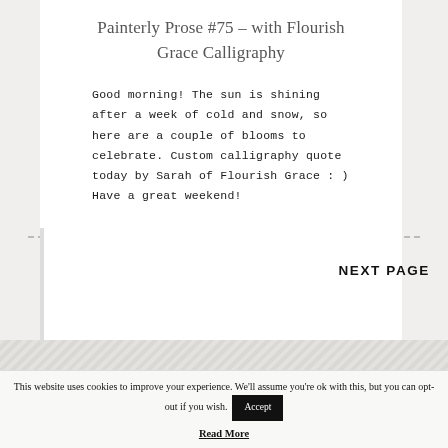Painterly Prose #75 – with Flourish Grace Calligraphy
Good morning! The sun is shining after a week of cold and snow, so here are a couple of blooms to celebrate. Custom calligraphy quote today by Sarah of Flourish Grace : ) Have a great weekend!
NEXT PAGE
This website uses cookies to improve your experience. We'll assume you're ok with this, but you can opt-out if you wish.
Accept
Read More